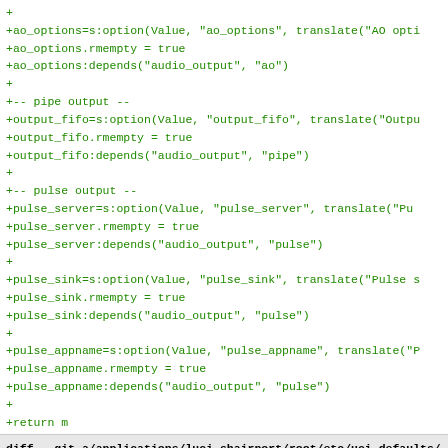+
+ao_options=s:option(Value, "ao_options", translate("AO opti
+ao_options.rmempty = true
+ao_options:depends("audio_output", "ao")
+
+-- pipe output --
+output_fifo=s:option(Value, "output_fifo", translate("Outpu
+output_fifo.rmempty = true
+output_fifo:depends("audio_output", "pipe")
+
+-- pulse output --
+pulse_server=s:option(Value, "pulse_server", translate("Pu
+pulse_server.rmempty = true
+pulse_server:depends("audio_output", "pulse")
+
+pulse_sink=s:option(Value, "pulse_sink", translate("Pulse s
+pulse_sink.rmempty = true
+pulse_sink:depends("audio_output", "pulse")
+
+pulse_appname=s:option(Value, "pulse_appname", translate("P
+pulse_appname.rmempty = true
+pulse_appname:depends("audio_output", "pulse")
+
+return m
diff --git a/applications/luci-shairport/root/etc/uci-defaults/luci-shairport b/applications/luci-shairport/root/etc/uci-defaults/luci-shairport
new file mode 100644 (file)
index 0000000..be9412b
--- /dev/null
+++ b/applications/luci-shairport/root/etc/uci-defaults/luci